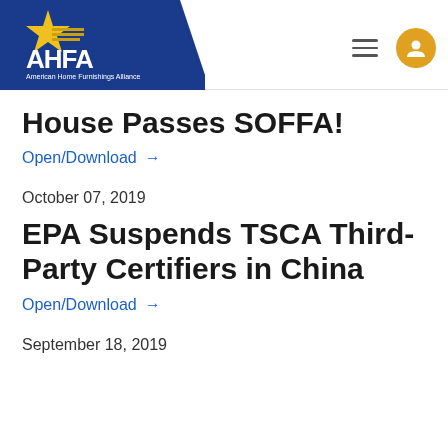[Figure (logo): AHFA American Home Furnishings Alliance logo on blue background with star graphic, plus hamburger menu icon and gold user profile icon]
House Passes SOFFA!
Open/Download →
October 07, 2019
EPA Suspends TSCA Third-Party Certifiers in China
Open/Download →
September 18, 2019